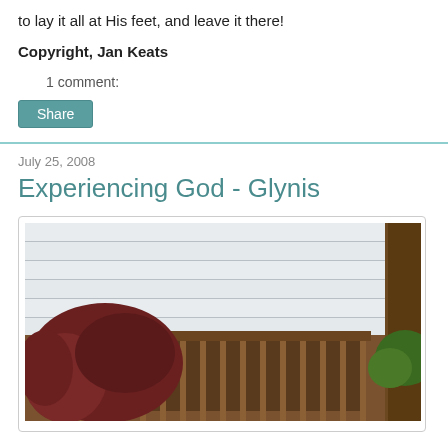to lay it all at His feet, and leave it there!
Copyright, Jan Keats
1 comment:
Share
July 25, 2008
Experiencing God - Glynis
[Figure (photo): Outdoor photo showing white vinyl siding on a house, a brown wooden slatted fence/bench, red-leafed shrubs on the left, and green foliage on the right.]